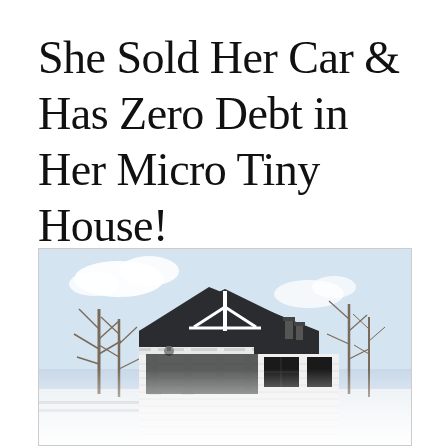She Sold Her Car & Has Zero Debt in Her Micro Tiny House!
[Figure (photo): Exterior photograph of a small white cottage-style tiny house with a dark gabled roof, white siding, a covered front porch with decorative brackets, black windows, bare winter trees in the background, and a snowy or bright white foreground. The bottom portion of the image fades to white as a reflection effect.]